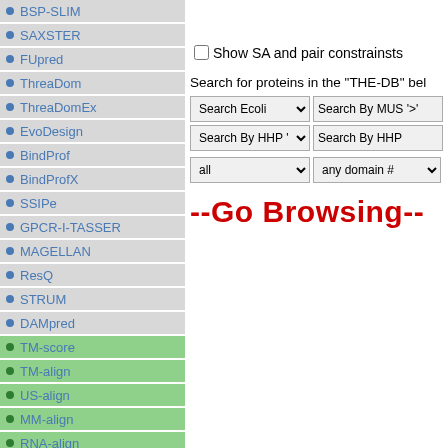BSP-SLIM
SAXSTER
FUpred
ThreaDom
ThreaDomEx
EvoDesign
BindProf
BindProfX
SSIPe
GPCR-I-TASSER
MAGELLAN
ResQ
STRUM
DAMpred
TM-score
TM-align
US-align
MM-align
RNA-align
NW-align
Show SA and pair constrainsts
Search for proteins in the "THE-DB" bel
Search Ecoli | Search By MUS '>'
Search By HHP '>' | Search By HHP
all | any domain #
--Go Browsing--